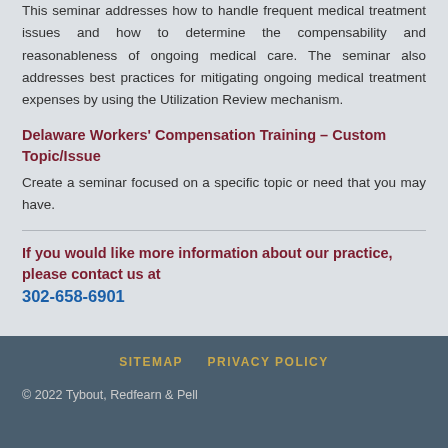This seminar addresses how to handle frequent medical treatment issues and how to determine the compensability and reasonableness of ongoing medical care. The seminar also addresses best practices for mitigating ongoing medical treatment expenses by using the Utilization Review mechanism.
Delaware Workers' Compensation Training – Custom Topic/Issue
Create a seminar focused on a specific topic or need that you may have.
If you would like more information about our practice, please contact us at 302-658-6901
SITEMAP   PRIVACY POLICY
© 2022 Tybout, Redfearn & Pell